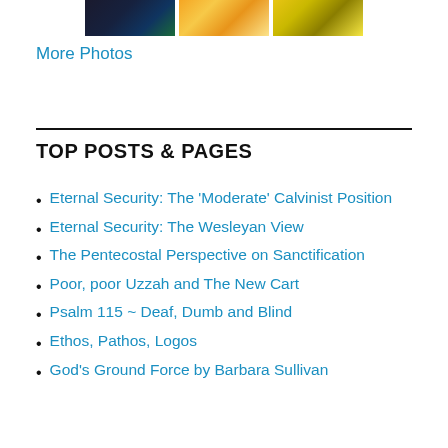[Figure (photo): Three flower thumbnail photos in a row: dark blue flower, orange/yellow flower, yellow flower]
More Photos
TOP POSTS & PAGES
Eternal Security: The 'Moderate' Calvinist Position
Eternal Security: The Wesleyan View
The Pentecostal Perspective on Sanctification
Poor, poor Uzzah and The New Cart
Psalm 115 ~ Deaf, Dumb and Blind
Ethos, Pathos, Logos
God's Ground Force by Barbara Sullivan